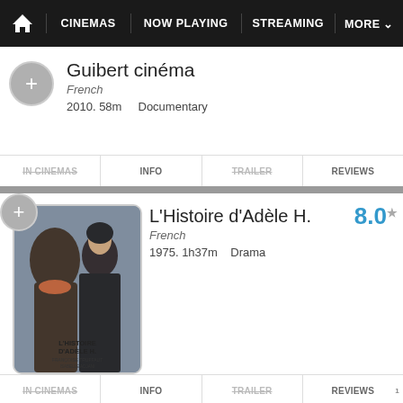Home | CINEMAS | NOW PLAYING | STREAMING | MORE
Guibert cinéma
French
2010. 58m   Documentary
IN CINEMAS | INFO | TRAILER | REVIEWS
[Figure (screenshot): Movie poster and details for L'Histoire d'Adèle H.]
L'Histoire d'Adèle H.
French
1975. 1h37m   Drama
Rating: 8.0
IN CINEMAS | INFO | TRAILER | REVIEWS
Ishkq in Paris
2013. Romantic comedy
IN CINEMAS | INFO | TRAILER | REVIEWS